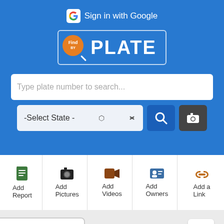[Figure (screenshot): FindPlate app screenshot showing blue header with 'Sign in with Google', FindPlate logo, search bar, state selector, and action buttons for Add Report, Add Pictures, Add Videos, Add Owners, Add a Link, plus a California license plate '6ZXK520']